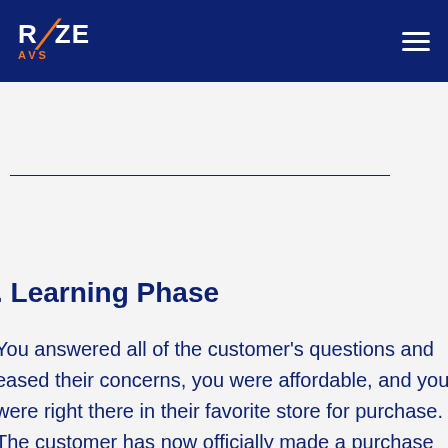RIZE AVS
. Learning Phase
You answered all of the customer's questions and eased their concerns, you were affordable, and you were right there in their favorite store for purchase. The customer has now officially made a purchase of your product and they are beginning to learn how to use it